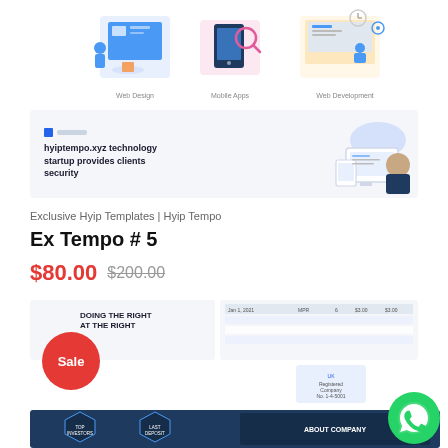[Figure (illustration): Three service icons: Web Design, Mobile Apps, Web Development with small captions below each]
[Figure (screenshot): Banner preview showing 'hyiptempo.xyz technology startup provides clients security' with illustration of devices]
Exclusive Hyip Templates | Hyip Tempo
Ex Tempo # 5
$80.00  $200.00
[Figure (screenshot): Preview of the template showing 'DOING THE RIGHT AT THE RIGHT' heading, a table of data, UK Regulated Company info, navy blue About Company section with Top Investors, Last Deposit badges, and a red Sale badge overlay. WhatsApp chat button in bottom right.]